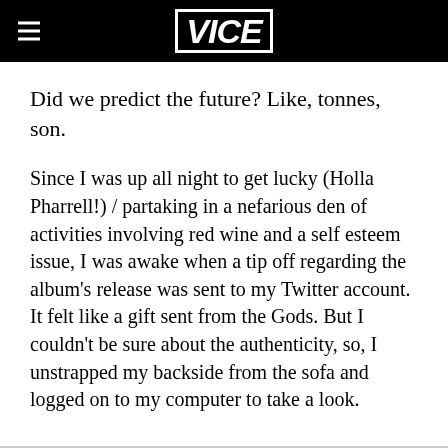VICE
Did we predict the future? Like, tonnes, son.
Since I was up all night to get lucky (Holla Pharrell!) / partaking in a nefarious den of activities involving red wine and a self esteem issue, I was awake when a tip off regarding the album's release was sent to my Twitter account. It felt like a gift sent from the Gods. But I couldn't be sure about the authenticity, so, I unstrapped my backside from the sofa and logged on to my computer to take a look.